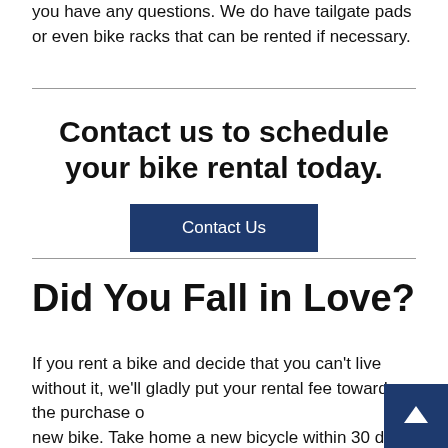you have any questions. We do have tailgate pads or even bike racks that can be rented if necessary.
Contact us to schedule your bike rental today.
Contact Us
Did You Fall in Love?
If you rent a bike and decide that you can't live without it, we'll gladly put your rental fee towards the purchase of a new bike. Take home a new bicycle within 30 days of bike rental and we'll credit you up to one week's worth of